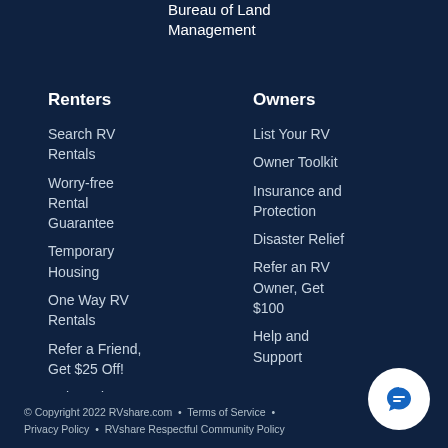Bureau of Land Management
Renters
Owners
Search RV Rentals
Worry-free Rental Guarantee
Temporary Housing
One Way RV Rentals
Refer a Friend, Get $25 Off!
Help and Support
List Your RV
Owner Toolkit
Insurance and Protection
Disaster Relief
Refer an RV Owner, Get $100
Help and Support
© Copyright 2022 RVshare.com  •  Terms of Service  •  Privacy Policy  •  RVshare Respectful Community Policy